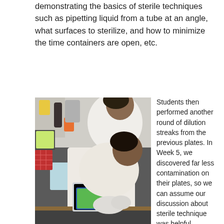demonstrating the basics of sterile techniques such as pipetting liquid from a tube at an angle, what surfaces to sterilize, and how to minimize the time containers are open, etc.
[Figure (photo): A student in a white lab coat and gloves working at a laboratory bench, puncturing a parafilm cover of a 96 well plate for growth kinetics experiment. Various lab equipment and supplies visible in the background.]
Student puncturing parafilm cover of 96 well plate for growth
Students then performed another round of dilution streaks from the previous plates. In Week 5, we discovered far less contamination on their plates, so we can assume our discussion about sterile technique was helpful.

Next came time for the first growth kinetics experiment. There was a non-